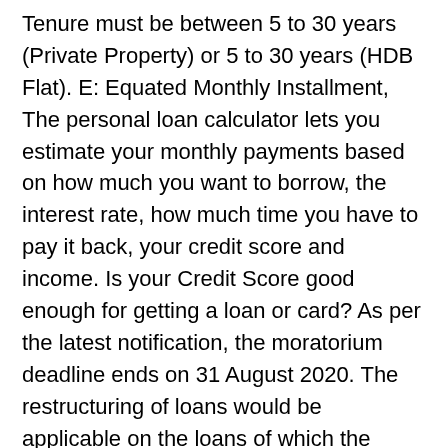Tenure must be between 5 to 30 years (Private Property) or 5 to 30 years (HDB Flat). E: Equated Monthly Installment, The personal loan calculator lets you estimate your monthly payments based on how much you want to borrow, the interest rate, how much time you have to pay it back, your credit score and income. Is your Credit Score good enough for getting a loan or card? As per the latest notification, the moratorium deadline ends on 31 August 2020. The restructuring of loans would be applicable on the loans of which the overall tenure does not extend by more than 2 years, after relaxing the repayment schedule, according to reports. Interest rate: For the purposes of our calculation, we assume: a variable interest; unless you enter another rate, that the interest rate is NAB's standard variable rate; the interest rate will not change and will apply for the full 30 year loan term. P = 3,500,000 R = 8.65% N = 30 years or 360 Months, EMI Paid For the Year = Rs 27,285 * 12= Rs 327,419. If the floating rate increases, the lender will normally